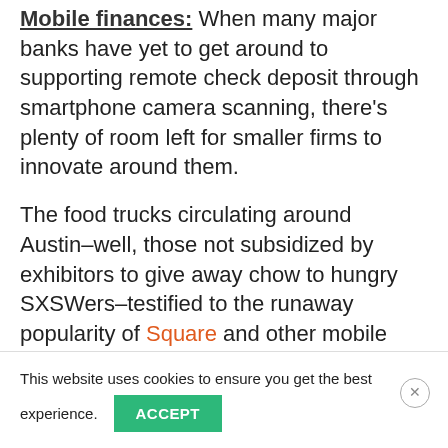Mobile finances: When many major banks have yet to get around to supporting remote check deposit through smartphone camera scanning, there's plenty of room left for smaller firms to innovate around them.

The food trucks circulating around Austin–well, those not subsidized by exhibitors to give away chow to hungry SXSWers–testified to the runaway popularity of Square and other mobile credit-card-processing apps. That trend may lower the ceiling on services that try to abstract plastic out of the transaction, such as SXSW
This website uses cookies to ensure you get the best experience.